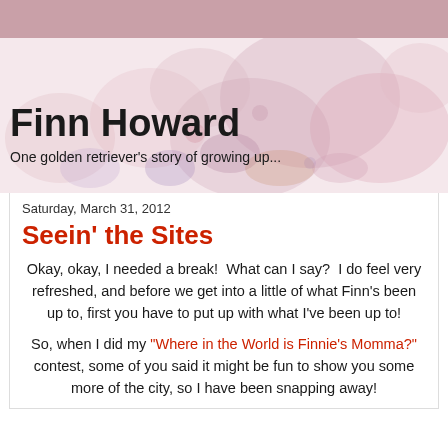[Figure (illustration): Pink/mauve decorative top bar strip]
[Figure (illustration): Blog header image with watercolor floral/animal background in soft pinks and purples, with blog title 'Finn Howard' and subtitle 'One golden retriever's story of growing up...']
Finn Howard
One golden retriever's story of growing up...
Saturday, March 31, 2012
Seein' the Sites
Okay, okay, I needed a break!  What can I say?  I do feel very refreshed, and before we get into a little of what Finn's been up to, first you have to put up with what I've been up to!
So, when I did my "Where in the World is Finnie's Momma?" contest, some of you said it might be fun to show you some more of the city, so I have been snapping away!